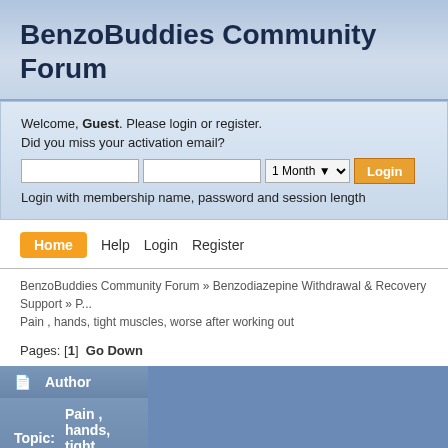BenzoBuddies Community Forum
Welcome, Guest. Please login or register.
Did you miss your activation email?
Login with membership name, password and session length
Home  Help  Login  Register
BenzoBuddies Community Forum » Benzodiazepine Withdrawal & Recovery Support » Pain , hands, tight muscles, worse after working out
Pages: [1]  Go Down
| Author | Topic: Pain , hands, tight muscles, wors... |
| --- | --- |
| [Buddie] | Pain , hands, tight muscles, worse after working out
« on: May 16, 2022, 07:45:57 pm » |
Pain , hands, tight muscles, worse after working out